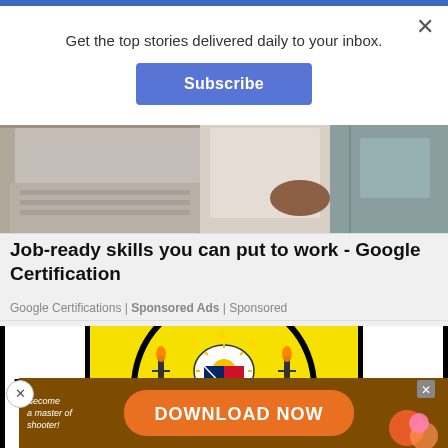Get the top stories delivered daily to your inbox.
Subscribe
[Figure (photo): Office scene with person at laptop holding papers]
Job-ready skills you can put to work - Google Certification
Google Certifications | Sponsored Ads | Sponsored
[Figure (logo): Bureau of Internal Revenue (BIR) Philippines seal with yellow background, Philippine coat of arms, torch and gear imagery]
[Figure (infographic): Mobile game advertisement: Become a master of shooter! DOWNLOAD NOW]